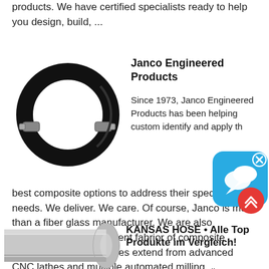products. We have certified specialists ready to help you design, build, ...
[Figure (photo): Black rubber hose/cable formed in a circular loop with metal fittings on each end]
Janco Engineered Products
Since 1973, Janco Engineered Products has been helping customers identify and apply the best composite options to address their specific needs. We deliver. We care. Of course, Janco is more than a fiber glass manufacturer. We are also recognized as a prominent fabrior of composite materials. Our capabilities extend from advanced CNC lathes and multiple automated milling ...
[Figure (photo): Gray cylindrical hose or roll of tape/material shown at an angle]
KANSAS HOSE • Alle Top Produkte im Vergleich!
Um Ihnen zu Hause die